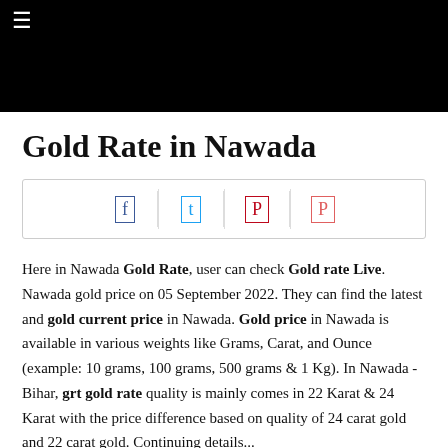☰
Gold Rate in Nawada
[Figure (other): Social sharing icon bar with Facebook, Twitter, and Pinterest icons]
Here in Nawada Gold Rate, user can check Gold rate Live. Nawada gold price on 05 September 2022. They can find the latest and gold current price in Nawada. Gold price in Nawada is available in various weights like Grams, Carat, and Ounce (example: 10 grams, 100 grams, 500 grams & 1 Kg). In Nawada - Bihar, grt gold rate quality is mainly comes in 22 Karat & 24 Karat with the price difference based on quality of 24 carat gold and 22 carat gold. Continuing details...